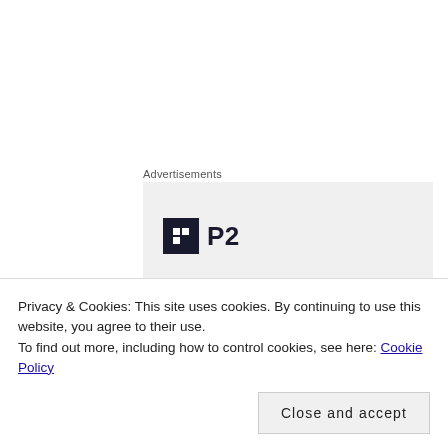Advertisements
[Figure (logo): P2 logo — dark square icon with white rectangles and text 'P2' in bold, on light grey advertisement background]
Don’t be fooled by the camera angle, this was a really small serve. Order three!
[Figure (photo): Close-up food photo showing a small dish with mixed ingredients including noodles, red chili strips, and various toppings against a light background]
Privacy & Cookies: This site uses cookies. By continuing to use this website, you agree to their use.
To find out more, including how to control cookies, see here: Cookie Policy
Close and accept